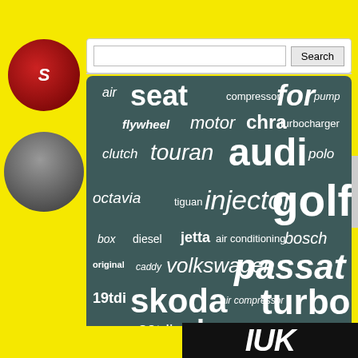[Figure (screenshot): Search bar with text input and Search button]
[Figure (infographic): Tag cloud on dark teal/green background with automotive search terms in varying sizes: air, seat, compressor, for, pump, flywheel, motor, chra, turbocharger, clutch, touran, audi, polo, octavia, tiguan, injector, golf, box, diesel, jetta, air conditioning, bosch, original, caddy, volkswagen, passat, 19tdi, skoda, air compressor, turbo, valve, 20tdi, leon, bora, engine]